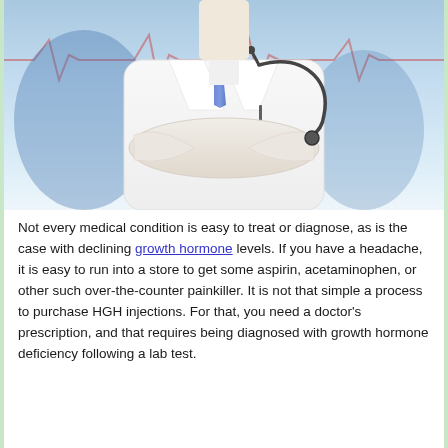[Figure (photo): A doctor in a white lab coat with arms crossed, wearing a stethoscope around the neck. The doctor is photographed from approximately chest up, with a light blue medical/hospital background. The face is not visible (cropped out at top).]
Not every medical condition is easy to treat or diagnose, as is the case with declining growth hormone levels. If you have a headache, it is easy to run into a store to get some aspirin, acetaminophen, or other such over-the-counter painkiller. It is not that simple a process to purchase HGH injections. For that, you need a doctor's prescription, and that requires being diagnosed with growth hormone deficiency following a lab test.